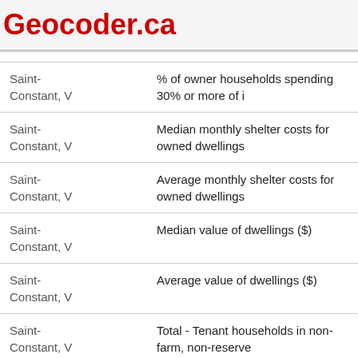Geocoder.ca
| Location | Metric |
| --- | --- |
| Saint-Constant, V | % of owner households spending 30% or more of i… |
| Saint-Constant, V | Median monthly shelter costs for owned dwellings |
| Saint-Constant, V | Average monthly shelter costs for owned dwellings |
| Saint-Constant, V | Median value of dwellings ($) |
| Saint-Constant, V | Average value of dwellings ($) |
| Saint-Constant, V | Total - Tenant households in non-farm, non-reserve… |
| Saint- | % of tenant households in subsidized housing |